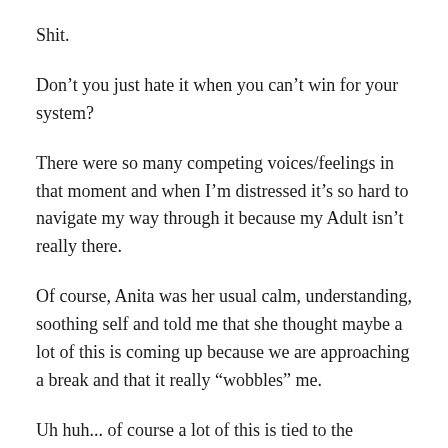Shit.
Don’t you just hate it when you can’t win for your system?
There were so many competing voices/feelings in that moment and when I’m distressed it’s so hard to navigate my way through it because my Adult isn’t really there.
Of course, Anita was her usual calm, understanding, soothing self and told me that she thought maybe a lot of this is coming up because we are approaching a break and that it really “wobbles” me.
Uh huh... of course a lot of this is tied to the upcoming break but man...what do I do about it?!!
I sat there and I felt like I was going to explode – but with